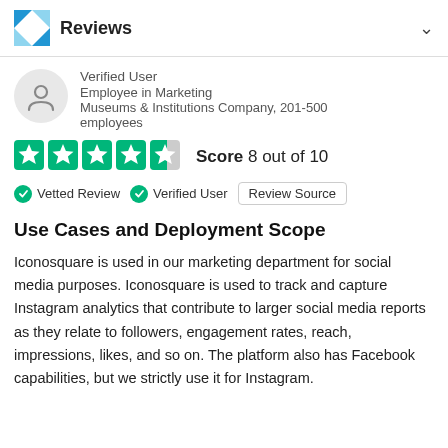Reviews
Verified User
Employee in Marketing
Museums & Institutions Company, 201-500 employees
[Figure (infographic): 4 out of 5 teal stars rating graphic with Score 8 out of 10]
Vetted Review   Verified User   Review Source
Use Cases and Deployment Scope
Iconosquare is used in our marketing department for social media purposes. Iconosquare is used to track and capture Instagram analytics that contribute to larger social media reports as they relate to followers, engagement rates, reach, impressions, likes, and so on. The platform also has Facebook capabilities, but we strictly use it for Instagram.